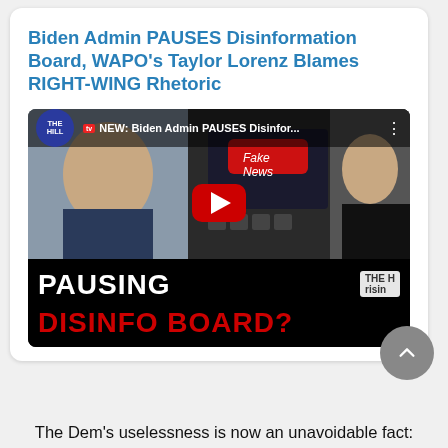Biden Admin PAUSES Disinformation Board, WAPO's Taylor Lorenz Blames RIGHT-WING Rhetoric
[Figure (screenshot): YouTube video thumbnail from The Hill TV showing Biden Admin PAUSES Disinfor... with images of Biden, a Fake News keyboard key, and a woman, plus lower text PAUSING DISINFO BOARD?]
The Dem's uselessness is now an unavoidable fact: